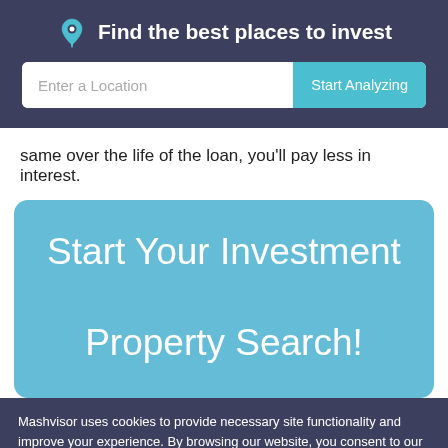Find the best places to invest
same over the life of the loan, you'll pay less in interest.
[Figure (infographic): Blue rounded card with white text reading 'Start Your Investment Property Search!']
Mashvisor uses cookies to provide necessary site functionality and improve your experience. By browsing our website, you consent to our use of cookies. To learn more please refer to our cookie policy
Accept  Reject